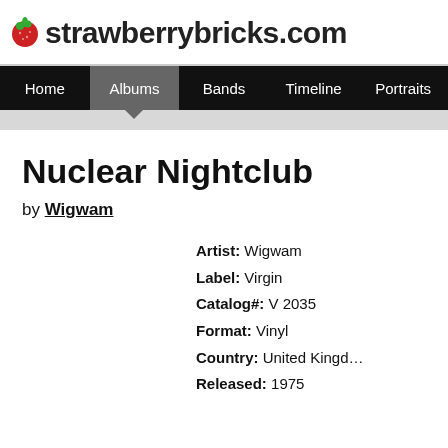strawberrybricks.com
Home | Albums | Bands | Timeline | Portraits
Nuclear Nightclub
by Wigwam
Artist: Wigwam
Label: Virgin
Catalog#: V 2035
Format: Vinyl
Country: United Kingdom
Released: 1975